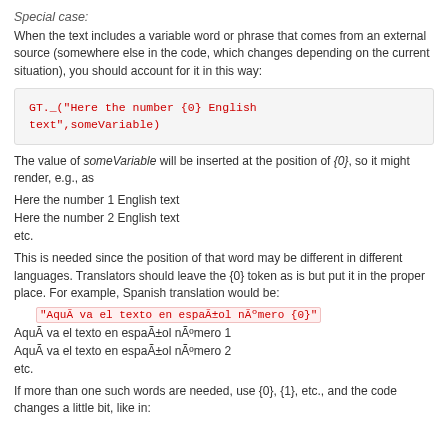Special case:
When the text includes a variable word or phrase that comes from an external source (somewhere else in the code, which changes depending on the current situation), you should account for it in this way:
GT._("Here the number {0} English text",someVariable)
The value of someVariable will be inserted at the position of {0}, so it might render, e.g., as
Here the number 1 English text
Here the number 2 English text
etc.
This is needed since the position of that word may be different in different languages. Translators should leave the {0} token as is but put it in the proper place. For example, Spanish translation would be:
"AquÃ va el texto en espaÃ±ol nÃºmero {0}"
AquÃ va el texto en espaÃ±ol nÃºmero 1
AquÃ va el texto en espaÃ±ol nÃºmero 2
etc.
If more than one such words are needed, use {0}, {1}, etc., and the code changes a little bit, like in: